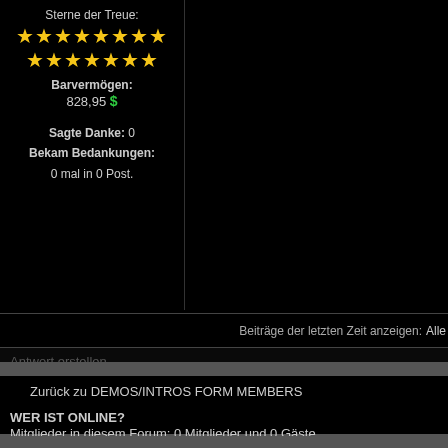Sterne der Treue:
[Figure (illustration): Two rows of gold stars: 8 stars on top row, 7 stars on second row representing loyalty stars]
Barvermögen: 828,95 $
Sagte Danke: 0
Bekam Bedankungen:
0 mal in 0 Post.
Beiträge der letzten Zeit anzeigen:  Alle
Antwort erstellen
Zurück zu DEMOS/INTROS FORM MEMBERS
WER IST ONLINE?
Mitglieder in diesem Forum: 0 Mitglieder und 0 Gäste
Neue Forumsbeiträge
Forumstati